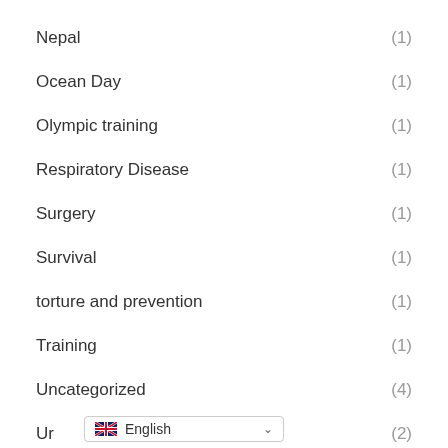Nepal (1)
Ocean Day (1)
Olympic training (1)
Respiratory Disease (1)
Surgery (1)
Survival (1)
torture and prevention (1)
Training (1)
Uncategorized (4)
Ur... (2)